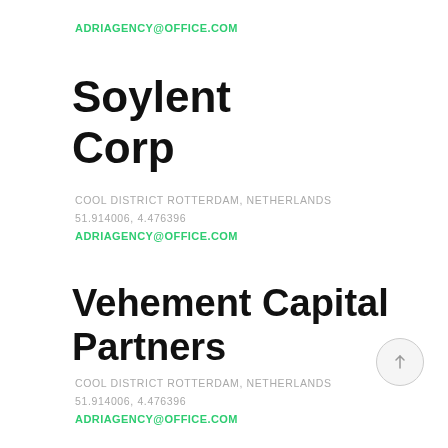ADRIAGENCY@OFFICE.COM
Soylent Corp
COOL DISTRICT ROTTERDAM, NETHERLANDS
51.914006, 4.476396
ADRIAGENCY@OFFICE.COM
Vehement Capital Partners
COOL DISTRICT ROTTERDAM, NETHERLANDS
51.914006, 4.476396
ADRIAGENCY@OFFICE.COM